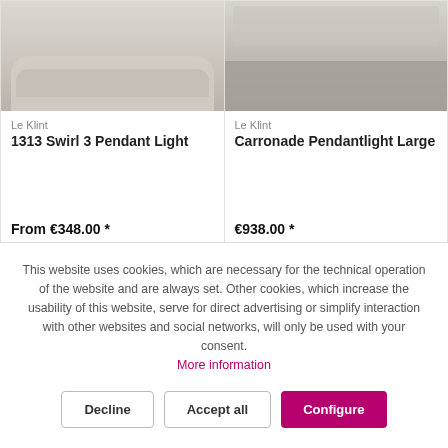[Figure (photo): Product photo of Le Klint 1313 Swirl 3 Pendant Light, shown above a sofa in a light-colored room]
Le Klint
1313 Swirl 3 Pendant Light
From €348.00 *
[Figure (photo): Product photo of Le Klint Carronade Pendantlight Large, shown in a kitchen setting]
Le Klint
Carronade Pendantlight Large
€938.00 *
This website uses cookies, which are necessary for the technical operation of the website and are always set. Other cookies, which increase the usability of this website, serve for direct advertising or simplify interaction with other websites and social networks, will only be used with your consent.
More information